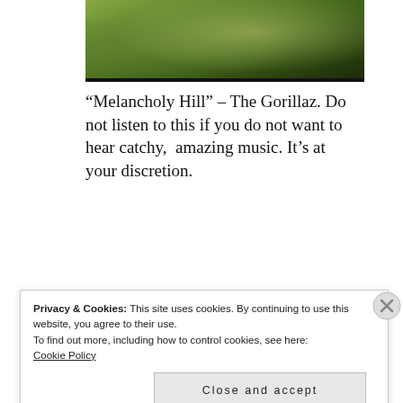[Figure (photo): Landscape photo with green grass/hill scenery, partially cropped at top]
“Melancholy Hill” – The Gorillaz. Do not listen to this if you do not want to hear catchy,  amazing music. It’s at your discretion.
And you can Click to download the song here.
Privacy & Cookies: This site uses cookies. By continuing to use this website, you agree to their use.
To find out more, including how to control cookies, see here:
Cookie Policy
Close and accept